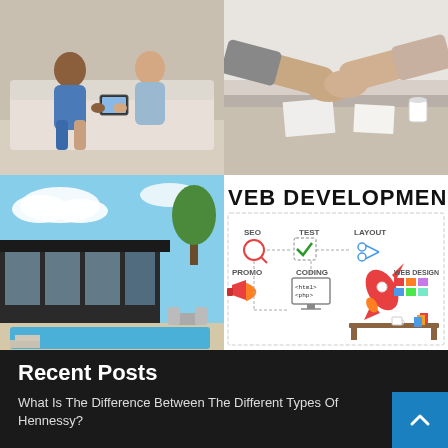[Figure (photo): Two people sitting together, one holding a tablet, casual meeting setting]
[Figure (photo): Business handshake across a table with documents visible]
[Figure (photo): Modern house exterior with pool and blue sky]
[Figure (infographic): Web Development infographic showing SEO, TEST, LAYOUT, CODING, PROMO, WEB DESIGN elements with icons including a rocket, megaphone, and monitor]
Recent Posts
What Is The Difference Between The Different Types Of Hennessy?